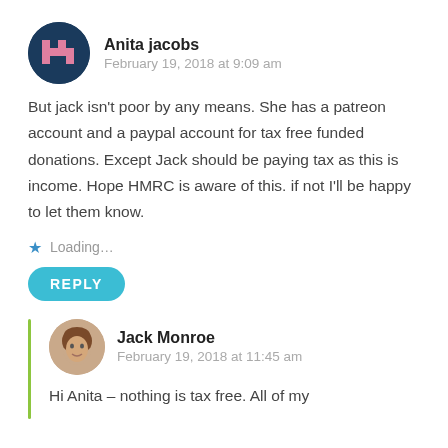[Figure (illustration): Avatar icon for Anita Jacobs — teal circular background with a pink letter A pixel-art style graphic]
Anita jacobs
February 19, 2018 at 9:09 am
But jack isn't poor by any means. She has a patreon account and a paypal account for tax free funded donations. Except Jack should be paying tax as this is income. Hope HMRC is aware of this. if not I'll be happy to let them know.
Loading...
REPLY
[Figure (photo): Avatar photo of Jack Monroe — small circular photo of a person with short brown hair]
Jack Monroe
February 19, 2018 at 11:45 am
Hi Anita – nothing is tax free. All of my